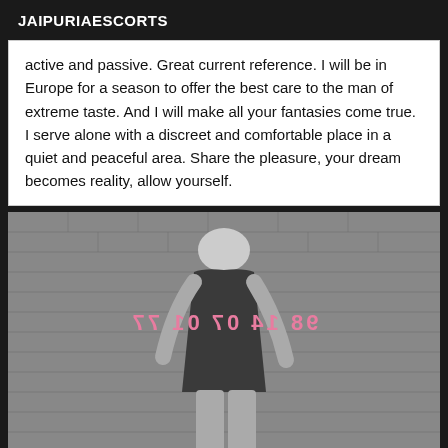JAIPURIAESCORTS
active and passive. Great current reference. I will be in Europe for a season to offer the best care to the man of extreme taste. And I will make all your fantasies come true. I serve alone with a discreet and comfortable place in a quiet and peaceful area. Share the pleasure, your dream becomes reality, allow yourself.
[Figure (photo): Black and white photo of a woman standing facing away from camera in front of a brick wall, wearing a dark short dress. Pink mirrored text visible on her back.]